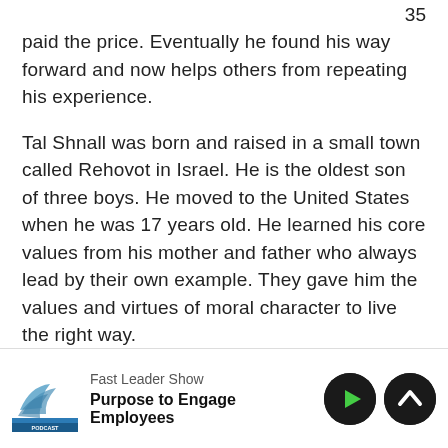paid the price. Eventually he found his way forward and now helps others from repeating his experience.
Tal Shnall was born and raised in a small town called Rehovot in Israel. He is the oldest son of three boys. He moved to the United States when he was 17 years old. He learned his core values from his mother and father who always lead by their own example. They gave him the values and virtues of moral character to live the right way.
Coming to... Tal really couldn't be found with...
Fast Leader Show — Purpose to Engage Employees